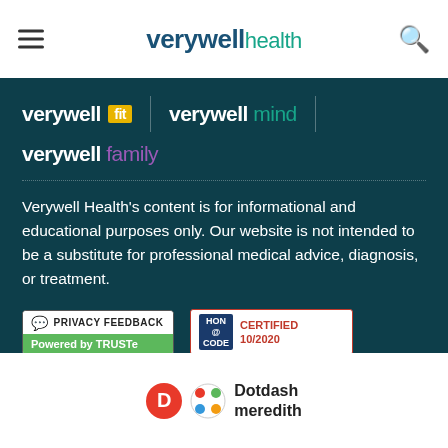verywell health
[Figure (logo): Verywell Fit logo with yellow badge, Verywell Mind logo with teal text, on dark teal background]
[Figure (logo): Verywell Family logo with purple text, on dark teal background]
Verywell Health's content is for informational and educational purposes only. Our website is not intended to be a substitute for professional medical advice, diagnosis, or treatment.
[Figure (logo): Privacy Feedback - Powered by TRUSTe badge]
[Figure (logo): HON Code Certified 10/2020 badge]
2022 Dotdash Media, Inc. — All rights reserved
[Figure (logo): Dotdash Meredith logo at bottom]